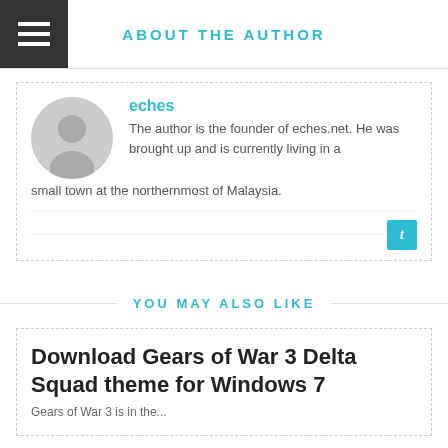ABOUT THE AUTHOR
eches
The author is the founder of eches.net. He was brought up and is currently living in a small town at the northernmost of Malaysia.
YOU MAY ALSO LIKE
Download Gears of War 3 Delta Squad theme for Windows 7